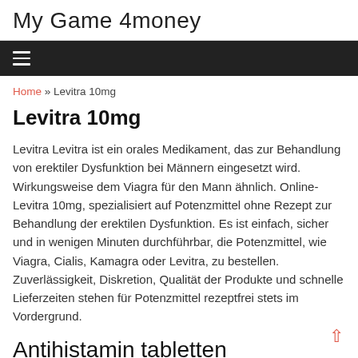My Game 4money
≡
Home » Levitra 10mg
Levitra 10mg
Levitra Levitra ist ein orales Medikament, das zur Behandlung von erektiler Dysfunktion bei Männern eingesetzt wird. Wirkungsweise dem Viagra für den Mann ähnlich. Online-Levitra 10mg, spezialisiert auf Potenzmittel ohne Rezept zur Behandlung der erektilen Dysfunktion. Es ist einfach, sicher und in wenigen Minuten durchführbar, die Potenzmittel, wie Viagra, Cialis, Kamagra oder Levitra, zu bestellen. Zuverlässigkeit, Diskretion, Qualität der Produkte und schnelle Lieferzeiten stehen für Potenzmittel rezeptfrei stets im Vordergrund.
Antihistamin tabletten